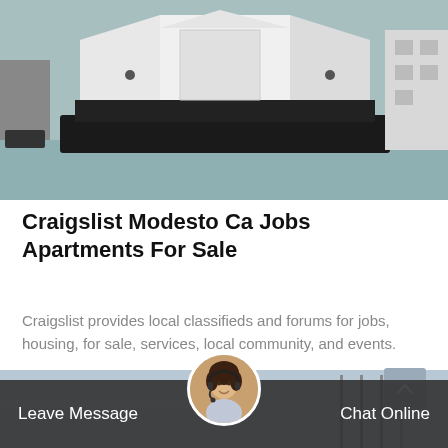[Figure (photo): Industrial machinery (crusher/hammer mill) on factory floor, white metal housing with black base, industrial setting]
Craigslist Modesto Ca Jobs Apartments For Sale
Craigslist provides local classifieds and forums for jobs, housing, for sale, services, local community, and events.
[Figure (other): Red 'Get Price' call-to-action button]
[Figure (photo): Partial view of industrial equipment in warehouse, bottom strip visible]
[Figure (photo): Customer service avatar: woman with headset, circular portrait photo]
Leave Message
Chat Online